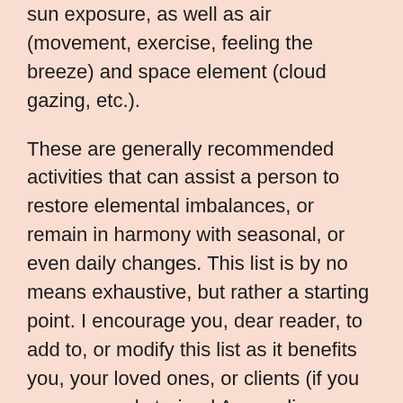sun exposure, as well as air (movement, exercise, feeling the breeze) and space element (cloud gazing, etc.).
These are generally recommended activities that can assist a person to restore elemental imbalances, or remain in harmony with seasonal, or even daily changes. This list is by no means exhaustive, but rather a starting point. I encourage you, dear reader, to add to, or modify this list as it benefits you, your loved ones, or clients (if you are a properly trained Ayurvedic counselor or practitioner).
Pṛthvī (Earth Element):